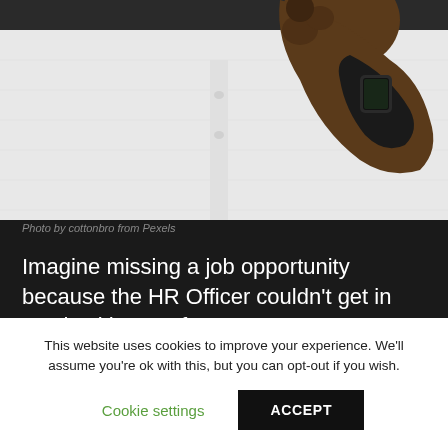[Figure (photo): Close-up photo of a person's hand and wrist wearing a smartwatch (dark band), dressed in a white shirt. Dark background at top.]
Photo by cottonbro from Pexels
Imagine missing a job opportunity because the HR Officer couldn't get in touch with you. If you use multiple sim cards, make sure to put all of these
This website uses cookies to improve your experience. We'll assume you're ok with this, but you can opt-out if you wish.
Cookie settings
ACCEPT